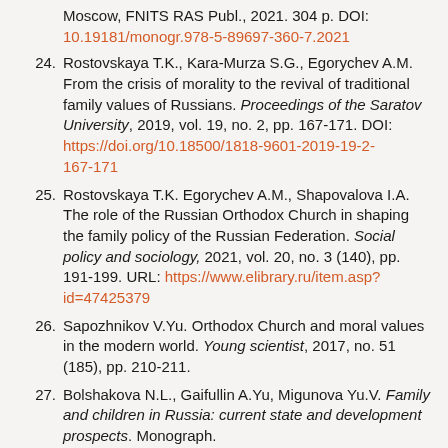Moscow, FNITS RAS Publ., 2021. 304 p. DOI: 10.19181/monogr.978-5-89697-360-7.2021
24. Rostovskaya T.K., Kara-Murza S.G., Egorychev A.M. From the crisis of morality to the revival of traditional family values of Russians. Proceedings of the Saratov University, 2019, vol. 19, no. 2, pp. 167-171. DOI: https://doi.org/10.18500/1818-9601-2019-19-2-167-171
25. Rostovskaya T.K. Egorychev A.M., Shapovalova I.A. The role of the Russian Orthodox Church in shaping the family policy of the Russian Federation. Social policy and sociology, 2021, vol. 20, no. 3 (140), pp. 191-199. URL: https://www.elibrary.ru/item.asp?id=47425379
26. Sapozhnikov V.Yu. Orthodox Church and moral values in the modern world. Young scientist, 2017, no. 51 (185), pp. 210-211.
27. Bolshakova N.L., Gaifullin A.Yu, Migunova Yu.V. Family and children in Russia: current state and development prospects. Monograph. Ufa, ISEI UNC RAS Publ., 2019. 219 p. URL: